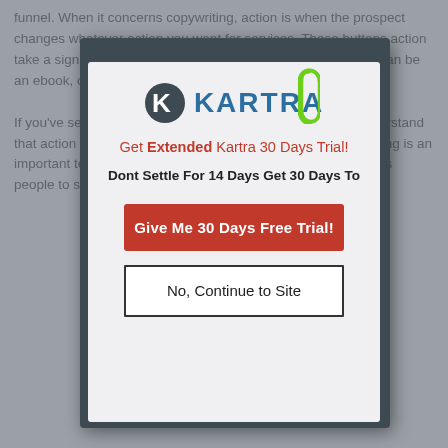funnel. When it concerns copywriting, action is when the prospect changes whatever action you want for services. These buttons action take a sign up for your newsletter, download a free gift which can be an ebook, or any call to action. If you've seen this topic of list building in action, then you understand that action buttons do play a significant role in them. List building is an important technique used in internet marketing that encourages people to sign up for your lists. This is one technique that takes
[Figure (screenshot): Kartra popup modal with logo, promotional text 'Get Extended Kartra 30 Days Trial!', subtext 'Dont Settle For 14 Days Get 30 Days To', a red CTA button 'Give Me 30 Days Free Trial!', and an outline button 'No, Continue to Site'. A green paperclip decorates the top right of the modal outer frame.]